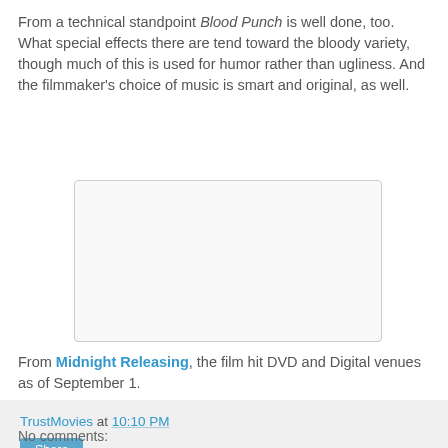From a technical standpoint Blood Punch is well done, too. What special effects there are tend toward the bloody variety, though much of this is used for humor rather than ugliness. And the filmmaker's choice of music is smart and original, as well.
[Figure (other): Blank/placeholder image box with light gray background and thin border]
From Midnight Releasing, the film hit DVD and Digital venues as of September 1.
TrustMovies at 10:10 PM
Share
No comments: